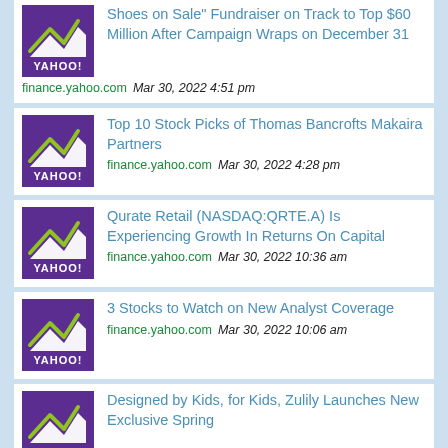Shoes on Sale" Fundraiser on Track to Top $60 Million After Campaign Wraps on December 31 | finance.yahoo.com Mar 30, 2022 4:51 pm
Top 10 Stock Picks of Thomas Bancrofts Makaira Partners | finance.yahoo.com Mar 30, 2022 4:28 pm
Qurate Retail (NASDAQ:QRTE.A) Is Experiencing Growth In Returns On Capital | finance.yahoo.com Mar 30, 2022 10:36 am
3 Stocks to Watch on New Analyst Coverage | finance.yahoo.com Mar 30, 2022 10:06 am
Designed by Kids, for Kids, Zulily Launches New Exclusive Spring